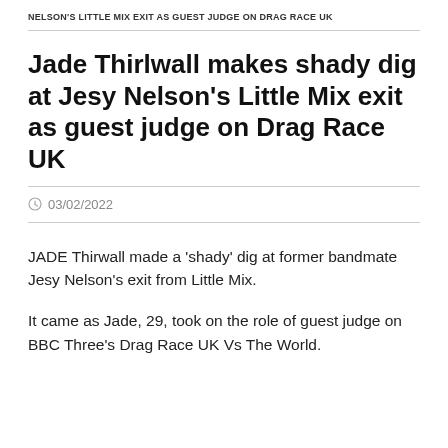NELSON'S LITTLE MIX EXIT AS GUEST JUDGE ON DRAG RACE UK
Jade Thirlwall makes shady dig at Jesy Nelson's Little Mix exit as guest judge on Drag Race UK
03/02/2022
JADE Thirwall made a 'shady' dig at former bandmate Jesy Nelson's exit from Little Mix.
It came as Jade, 29, took on the role of guest judge on BBC Three's Drag Race UK Vs The World.